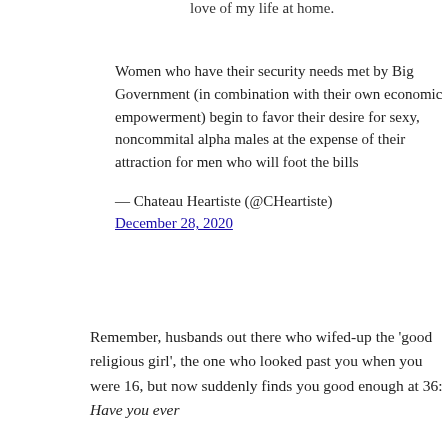love of my life  at home.
Women who have their security needs met by Big Government (in combination with their own economic empowerment) begin to favor their desire for sexy, noncommital alpha males at the expense of their attraction for men who will foot the bills
— Chateau Heartiste (@CHeartiste) December 28, 2020
Remember, husbands out there who wifed-up the 'good religious girl', the one who looked past you when you were 16, but now suddenly finds you good enough at 36: Have you ever